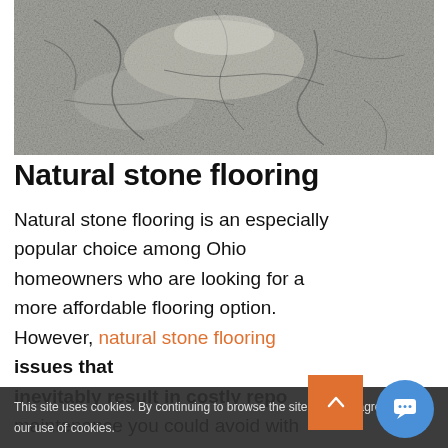[Figure (photo): Close-up photograph of cracked, dry natural stone flooring surface with grey tones and visible fractures]
Natural stone flooring
Natural stone flooring is an especially popular choice among Ohio homeowners who are looking for a more affordable flooring option. However, natural stone flooring issues that inevitably result in costly repairs and maintenance you could avoid with
This site uses cookies. By continuing to browse the site, you are agreeing to our use of cookies.